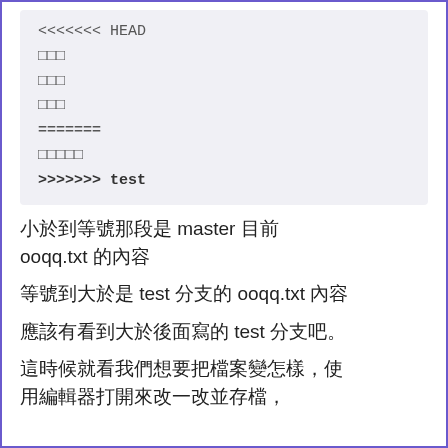[Figure (screenshot): Code block showing git conflict markers with HEAD label, placeholder lines, equals separator, more placeholder lines, and arrow pointing to test branch]
小於到等號那段是 master 目前 ooqq.txt 的內容
等號到大於是 test 分支的 ooqq.txt 內容
應該有看到大於後面寫的 test 分支吧。
這時候就看我們想要把檔案變怎樣，使用編輯器打開來改一改並存檔，